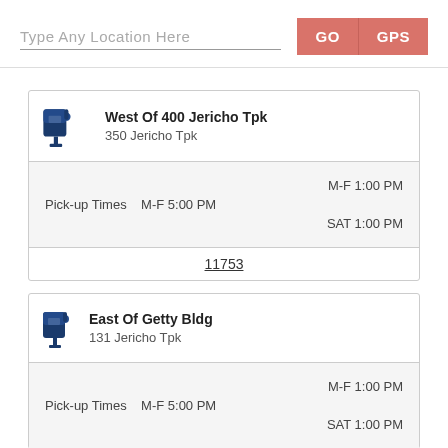Type Any Location Here
GO
GPS
West Of 400 Jericho Tpk
350 Jericho Tpk
M-F 1:00 PM
Pick-up Times M-F 5:00 PM
SAT 1:00 PM
11753
East Of Getty Bldg
131 Jericho Tpk
M-F 1:00 PM
Pick-up Times M-F 5:00 PM
SAT 1:00 PM